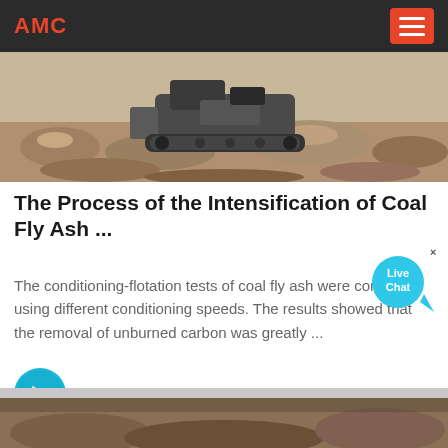AMC
[Figure (photo): Construction machinery (track loader/bulldozer) working in rocky terrain with rubble and soil]
The Process of the Intensification of Coal Fly Ash ...
The conditioning-flotation tests of coal fly ash were conducted using different conditioning speeds. The results showed that the removal of unburned carbon was greatly ...
[Figure (other): Blue circular arrow button (next/forward navigation button)]
[Figure (photo): Partial view of a second article image showing rocky/soil terrain at the bottom of the page]